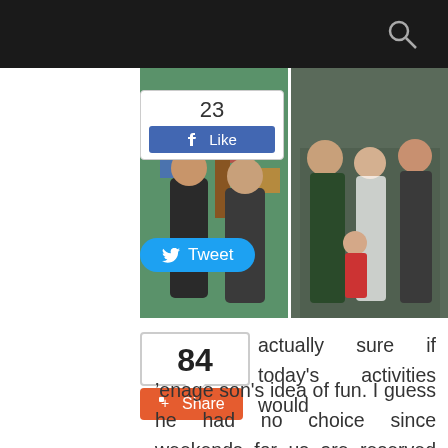[Figure (photo): Two group photos side by side showing people posing in front of a colorful children's activity backdrop with painted trees and shapes. Left photo shows two males standing, right photo shows a group of people including children.]
[Figure (infographic): Facebook Like button showing count of 23 likes]
[Figure (infographic): Twitter Tweet button]
[Figure (infographic): Comment count box showing 84]
[Figure (infographic): Google+ Share button]
actually sure if today's activities would ’enage son's idea of fun. I guess he had no choice since weekends for us are reserved for family time so where we go, he goes. To my surprise though, he admitted he had fun but made a request for me not to upload our "Dancing Heads" video, lest his friends make fun of him. We were made to lip-sync the jingle while the images of our heads were substituted on the screen. The end product was really hilarious. As a compromise